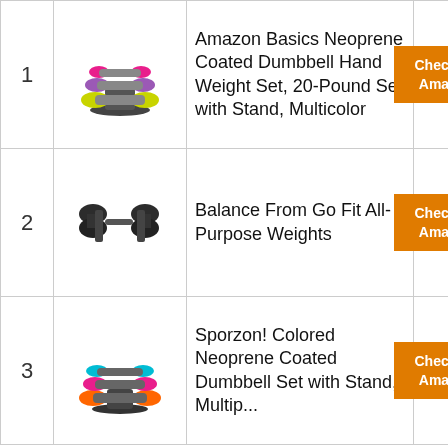| # | Image | Product | Link |
| --- | --- | --- | --- |
| 1 | [dumbbell set image] | Amazon Basics Neoprene Coated Dumbbell Hand Weight Set, 20-Pound Set with Stand, Multicolor | Check on Amazon |
| 2 | [dumbbell pair image] | Balance From Go Fit All-Purpose Weights | Check on Amazon |
| 3 | [colored dumbbell set image] | Sporzon! Colored Neoprene Coated Dumbbell Set with Stand, Multip... | Check on Amazon |